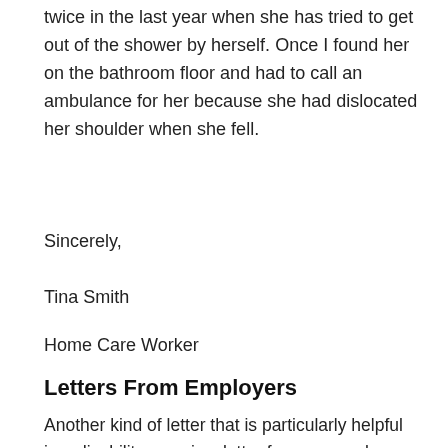twice in the last year when she has tried to get out of the shower by herself. Once I found her on the bathroom floor and had to call an ambulance for her because she had dislocated her shoulder when she fell.
Sincerely,
Tina Smith
Home Care Worker
Letters From Employers
Another kind of letter that is particularly helpful in a disability case is a letter from an employer. Most